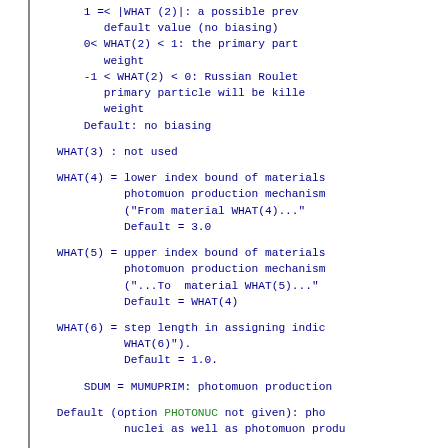1 =< |WHAT (2)|: a possible prev default value (no biasing)
0< WHAT(2) < 1: the primary part weight
-1 < WHAT(2) < 0: Russian Roulet primary particle will be kille weight
Default: no biasing
WHAT(3) : not used
WHAT(4) = lower index bound of materials photomuon production mechanism ("From material WHAT(4)..." Default = 3.0
WHAT(5) = upper index bound of materials photomuon production mechanism ("...To  material WHAT(5)..." Default = WHAT(4)
WHAT(6) = step length in assigning indic WHAT(6)"). Default = 1.0.
SDUM = MUMUPRIM: photomuon production
Default (option PHOTONUC not given): pho nuclei as well as photomuon produ